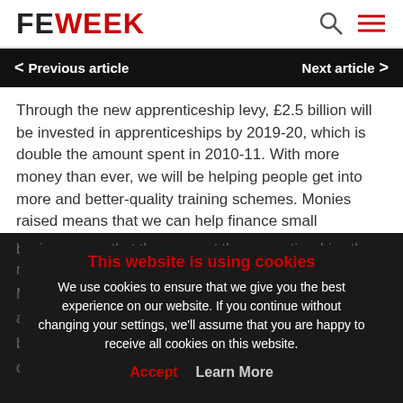FE WEEK
Previous article   Next article
Through the new apprenticeship levy, £2.5 billion will be invested in apprenticeships by 2019-20, which is double the amount spent in 2010-11. With more money than ever, we will be helping people get into more and better-quality training schemes. Monies raised means that we can help finance small businesses so that they can get the apprenticeships they need to…rything. … ap… ba… chance to climb the ladder of opportunity.
This website is using cookies
We use cookies to ensure that we give you the best experience on our website. If you continue without changing your settings, we'll assume that you are happy to receive all cookies on this website.
Accept   Learn More
The levy will ensure a step change in apprenticeships